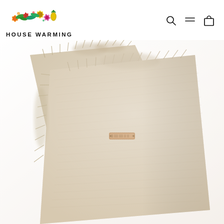HOUSE WARMING
[Figure (photo): Close-up product photo of a folded beige/natural linen textile (blanket or throw) with frayed fringe edges and a small leather label, displayed on a white background.]